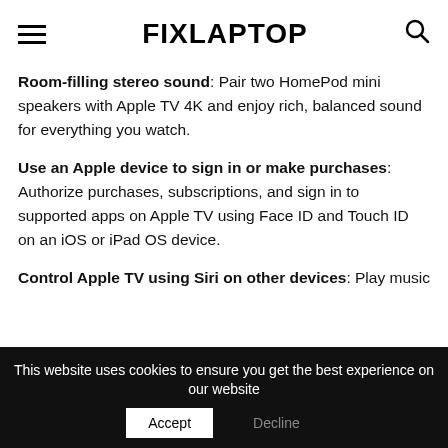FIXLAPTOP
Room-filling stereo sound: Pair two HomePod mini speakers with Apple TV 4K and enjoy rich, balanced sound for everything you watch.
Use an Apple device to sign in or make purchases: Authorize purchases, subscriptions, and sign in to supported apps on Apple TV using Face ID and Touch ID on an iOS or iPad OS device.
Control Apple TV using Siri on other devices: Play music
This website uses cookies to ensure you get the best experience on our website  Accept  Decline